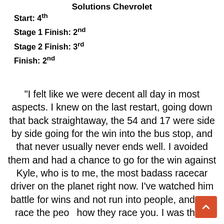Solutions Chevrolet
Start: 4th
Stage 1 Finish: 2nd
Stage 2 Finish: 3rd
Finish: 2nd
"I felt like we were decent all day in most aspects. I knew on the last restart, going down that back straightaway, the 54 and 17 were side by side going for the win into the bus stop, and that never usually never ends well. I avoided them and had a chance to go for the win against Kyle, who is to me, the most badass racecar driver on the planet right now. I've watched him battle for wins and not run into people, and you race the people how they race you. I was there